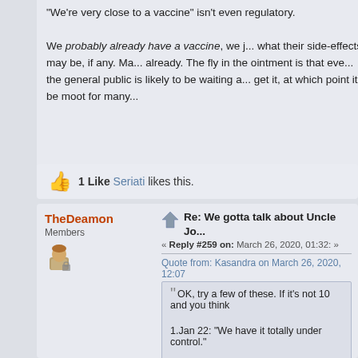'We're very close to a vaccine' isn't even regulatory. We probably already have a vaccine, we just don't know what their side-effects may be, if any. Many trials already. The fly in the ointment is that even if we do, the general public is likely to be waiting a long time to get it, at which point it'll be moot for many.
1 Like  Seriati likes this.
TheDeamon
Members
Re: We gotta talk about Uncle Joe
« Reply #259 on: March 26, 2020, 01:32:
Quote from: Kasandra on March 26, 2020, 12:07
OK, try a few of these. If it's not 10 and you think
1.Jan 22: "We have it totally under control."
2. Feb 2: "We pretty much shut it down coming f
Based on how prior containment worked